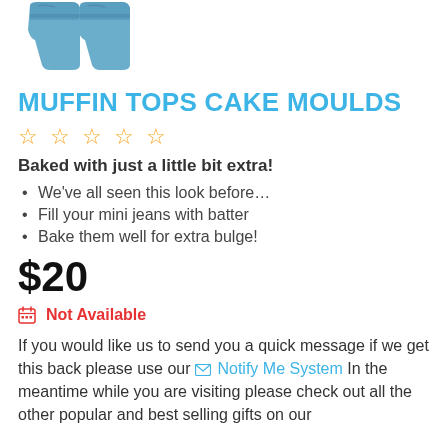[Figure (photo): Product photo of blue silicone muffin tops cake moulds shaped like mini jeans, partially visible at top of page]
MUFFIN TOPS CAKE MOULDS
☆☆☆☆☆ (5 empty stars rating)
Baked with just a little bit extra!
We've all seen this look before…
Fill your mini jeans with batter
Bake them well for extra bulge!
$20
🗓 Not Available
If you would like us to send you a quick message if we get this back please use our ✉ Notify Me System In the meantime while you are visiting please check out all the other popular and best selling gifts on our